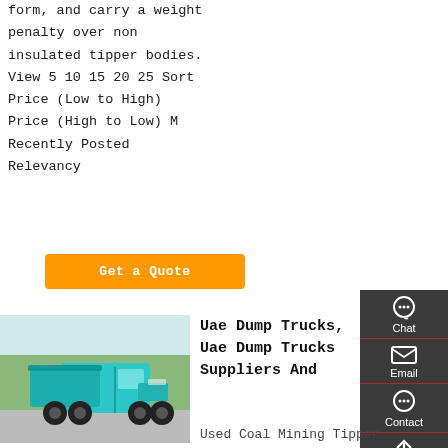form, and carry a weight penalty over non insulated tipper bodies. View 5 10 15 20 25 Sort Price (Low to High) Price (High to Low) Most Recently Posted Relevancy
[Figure (other): Orange 'Get a Quote' button]
[Figure (other): Sidebar with Chat, Email, Contact, Top navigation buttons on dark grey background]
[Figure (photo): Photo of a teal/turquoise dump truck (HOWO style) parked on a road with trees in background]
Uae Dump Trucks, Uae Dump Trucks Suppliers And
Used Coal Mining Tipper